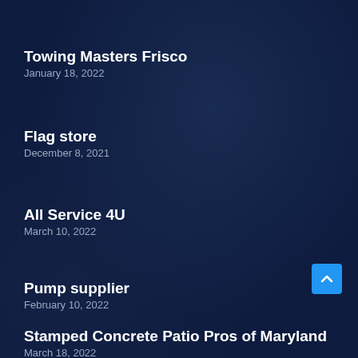Towing Masters Frisco
January 18, 2022
Flag store
December 8, 2021
All Service 4U
March 10, 2022
Pump supplier
February 10, 2022
Stamped Concrete Patio Pros of Maryland
March 18, 2022